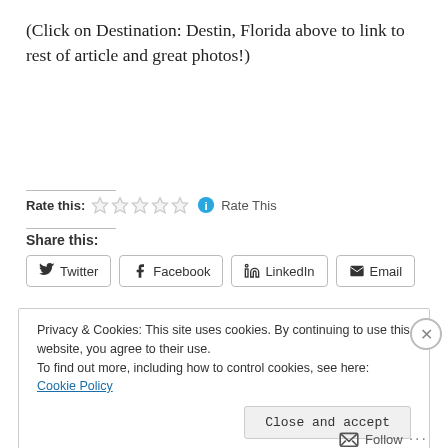(Click on Destination: Destin, Florida above to link to rest of article and great photos!)
Rate this: ☆☆☆☆☆ ℹ Rate This
Share this:
Twitter  Facebook  LinkedIn  Email
Privacy & Cookies: This site uses cookies. By continuing to use this website, you agree to their use.
To find out more, including how to control cookies, see here: Cookie Policy
Close and accept
Follow